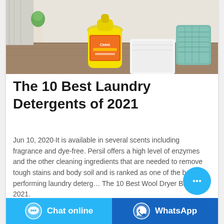[Figure (photo): A yellow laundry detergent bottle (Clean brand) sitting on a wooden table with white folded towels and a teal laundry basket in the background]
The 10 Best Laundry Detergents of 2021
Jun 10, 2020·It is available in several scents including fragrance and dye-free. Persil offers a high level of enzymes and the other cleaning ingredients that are needed to remove tough stains and body soil and is ranked as one of the best performing laundry deterg… The 10 Best Wool Dryer Balls of 2021.